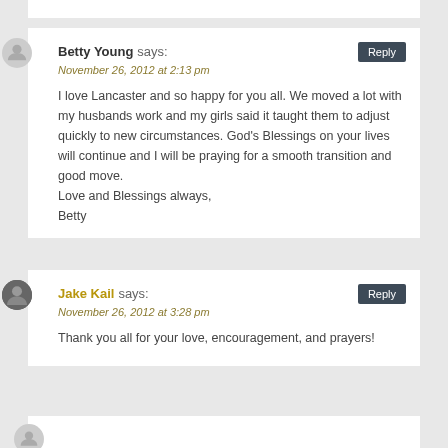Betty Young says:
November 26, 2012 at 2:13 pm
I love Lancaster and so happy for you all. We moved a lot with my husbands work and my girls said it taught them to adjust quickly to new circumstances. God’s Blessings on your lives will continue and I will be praying for a smooth transition and good move.
Love and Blessings always,
Betty
Jake Kail says:
November 26, 2012 at 3:28 pm
Thank you all for your love, encouragement, and prayers!